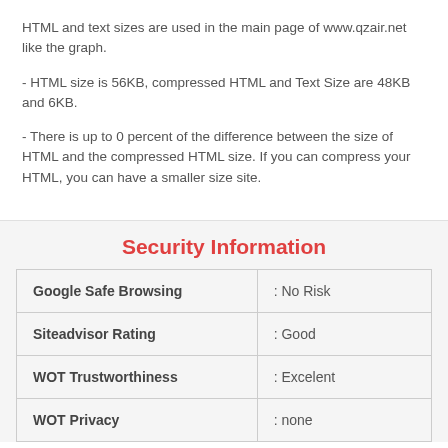HTML and text sizes are used in the main page of www.qzair.net like the graph.
- HTML size is 56KB, compressed HTML and Text Size are 48KB and 6KB.
- There is up to 0 percent of the difference between the size of HTML and the compressed HTML size. If you can compress your HTML, you can have a smaller size site.
Security Information
|  |  |
| --- | --- |
| Google Safe Browsing | : No Risk |
| Siteadvisor Rating | : Good |
| WOT Trustworthiness | : Excelent |
| WOT Privacy | : none |